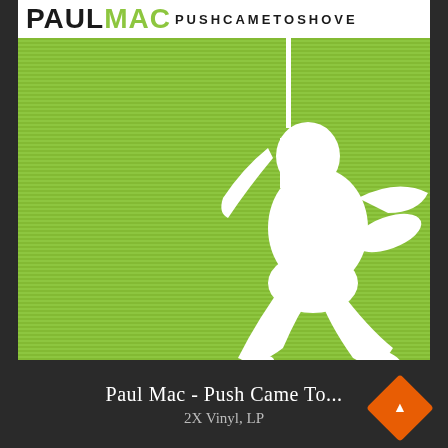[Figure (illustration): Album cover for Paul Mac - Push Came To Shove. White header area with 'PAUL' in bold black and 'MAC' in bold green, followed by 'PUSHCAMETOSHOVE' in small black caps. Below is a square album art with a light green striped background and a white silhouette of a person in a dynamic crouching/swinging pose.]
Paul Mac - Push Came To...
2X Vinyl, LP